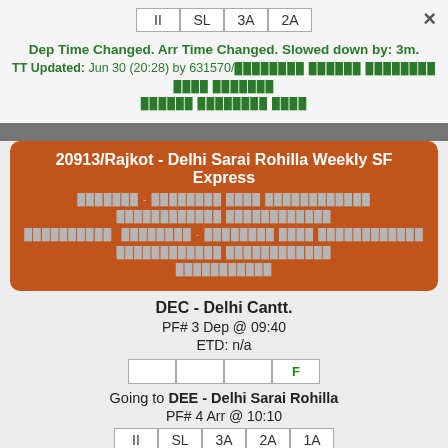II SL 3A 2A
Dep Time Changed. Arr Time Changed. Slowed down by: 3m.
TT Updated: Jun 30 (20:28) by 631570/[redacted]
20913/Rajkot - Delhi Sarai Rohilla Weekly SF Express
DEC - Delhi Cantt.
PF# 3 Dep @ 09:40
ETD: n/a
F
Going to DEE - Delhi Sarai Rohilla
PF# 4 Arr @ 10:10
II SL 3A 2A 1A